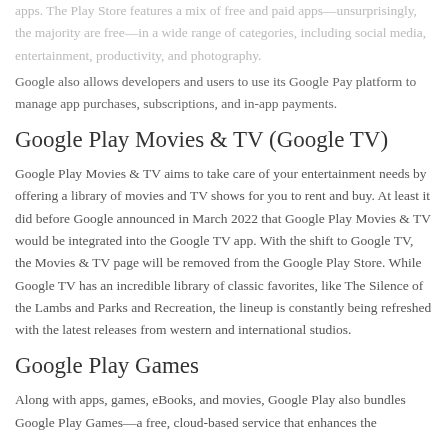apps. The Play Store features a mix of free and paid apps—unsurprisingly, the majority are free—in a wide range of categories, including social media, entertainment, productivity, and photography.
Google also allows developers and users to use its Google Pay platform to manage app purchases, subscriptions, and in-app payments.
Google Play Movies & TV (Google TV)
Google Play Movies & TV aims to take care of your entertainment needs by offering a library of movies and TV shows for you to rent and buy. At least it did before Google announced in March 2022 that Google Play Movies & TV would be integrated into the Google TV app. With the shift to Google TV, the Movies & TV page will be removed from the Google Play Store. While Google TV has an incredible library of classic favorites, like The Silence of the Lambs and Parks and Recreation, the lineup is constantly being refreshed with the latest releases from western and international studios.
Google Play Games
Along with apps, games, eBooks, and movies, Google Play also bundles Google Play Games—a free, cloud-based service that enhances the